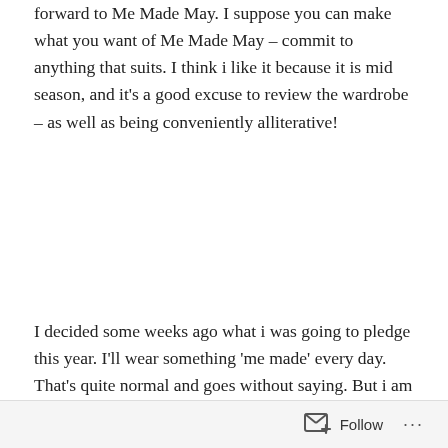forward to Me Made May. I suppose you can make what you want of Me Made May – commit to anything that suits. I think i like it because it is mid season, and it's a good excuse to review the wardrobe – as well as being conveniently alliterative!
I decided some weeks ago what i was going to pledge this year. I'll wear something 'me made' every day. That's quite normal and goes without saying. But i am so aware that in the last 14 months or so, i have been sewing for the sake of sewing – something to do whilst i have been in the house on my own for months on end. And whilst some of my makes have been quite well worn, i haven't worn other garments at all, because the events for which they are intended, just haven't happened. So whilst i wont be
Follow